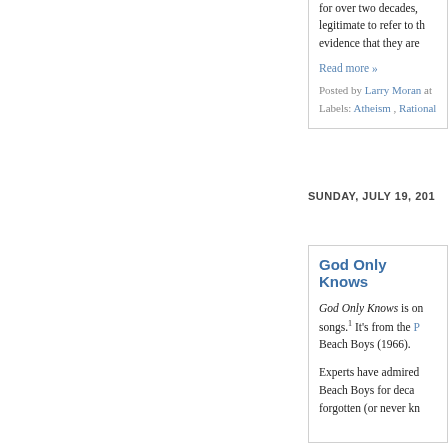for over two decades, legitimate to refer to the evidence that they are
Read more »
Posted by Larry Moran at
Labels: Atheism , Rational
SUNDAY, JULY 19, 201
God Only Knows
God Only Knows is on songs.1 It's from the Beach Boys (1966).
Experts have admired Beach Boys for deca forgotten (or never kn